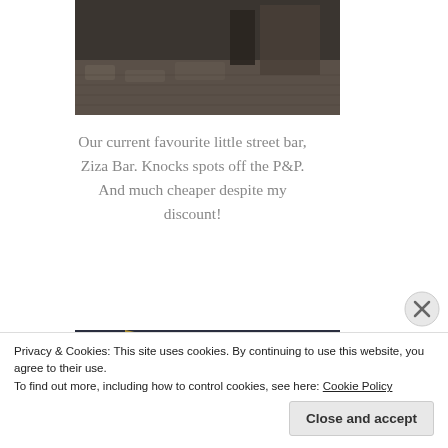[Figure (photo): Partial view of a street scene at night, cobblestone pavement visible, cropped at top]
Our current favourite little street bar, Ziza Bar. Knocks spots off the P&P. And much cheaper despite my discount!
[Figure (photo): Night photograph of a street bar with illuminated shopfront, awning visible, urban street scene]
Privacy & Cookies: This site uses cookies. By continuing to use this website, you agree to their use.
To find out more, including how to control cookies, see here: Cookie Policy
Close and accept